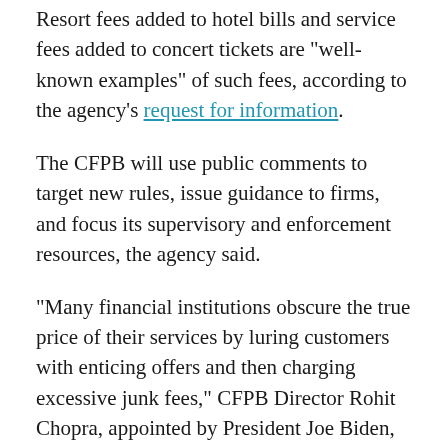Resort fees added to hotel bills and service fees added to concert tickets are "well-known examples" of such fees, according to the agency's request for information.
The CFPB will use public comments to target new rules, issue guidance to firms, and focus its supervisory and enforcement resources, the agency said.
“Many financial institutions obscure the true price of their services by luring customers with enticing offers and then charging excessive junk fees,” CFPB Director Rohit Chopra, appointed by President Joe Biden, said in a statement. “By promoting competition and ridding the market of illegal practices, we hope to save Americans billions.”
The CFPB is also interested in hearing from small business